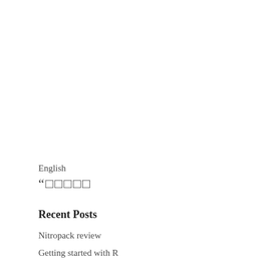English
“□□□□□
Recent Posts
Nitropack review
Getting started with R